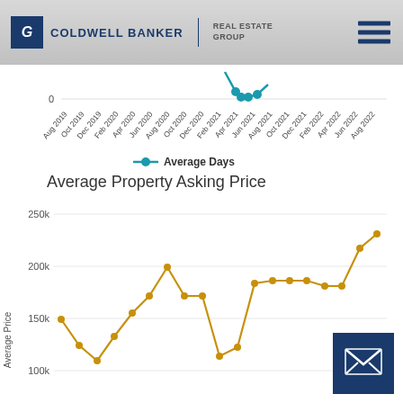[Figure (logo): Coldwell Banker Real Estate Group logo with hamburger menu]
[Figure (line-chart): Partial bottom of Average Days on Market line chart showing teal line with dots near 0 value around Jun-Oct 2021, x-axis labels from Aug 2019 to Aug 2022]
Average Days
Average Property Asking Price
[Figure (line-chart): Gold/yellow line chart showing average property asking price from Aug 2019 to Aug 2022. Y-axis shows 100k, 150k, 200k, 250k. Line shows values around 125k early on, spike to ~185k around Aug 2020, dip, then rise to ~175-180k in 2021, then climb to ~225k by Aug 2022.]